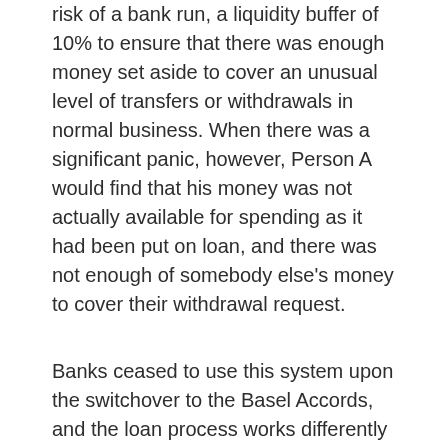risk of a bank run, a liquidity buffer of 10% to ensure that there was enough money set aside to cover an unusual level of transfers or withdrawals in normal business. When there was a significant panic, however, Person A would find that his money was not actually available for spending as it had been put on loan, and there was not enough of somebody else's money to cover their withdrawal request.
Banks ceased to use this system upon the switchover to the Basel Accords, and the loan process works differently now…